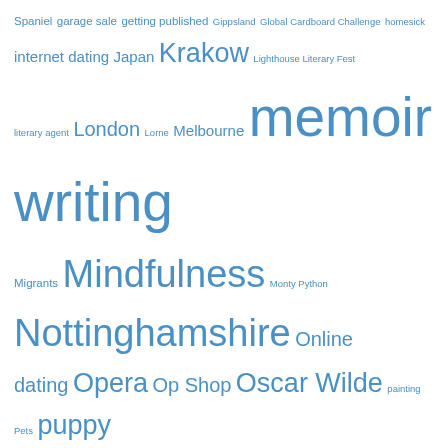Spaniel garage sale getting published Gippsland Global Cardboard Challenge homesick internet dating Japan Krakow Lighthouse Literary Fest literary agent London Lorne Melbourne memoir writing Migrants Mindfulness Monty Python Nottinghamshire Online dating Opera Op Shop Oscar Wilde painting Pets puppy renovations Ruby Wax sea change Singing Social media spaniel spiders spirituality Surf Coast tea truffles Vienna weather Whitbread winery Writer's Block Writing Yuletide
Follow Blog via Email
Enter your email address to follow this blog and receive notifications of new posts by email.